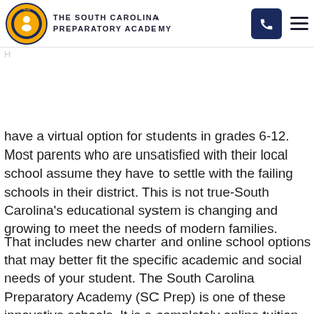THE SOUTH CAROLINA PREPARATORY ACADEMY
have a virtual option for students in grades 6-12. Most parents who are unsatisfied with their local school assume they have to settle with the failing schools in their district. This is not true-South Carolina's educational system is changing and growing to meet the needs of modern families.
That includes new charter and online school options that may better fit the specific academic and social needs of your student. The South Carolina Preparatory Academy (SC Prep) is one of these innovative schools. It is a completely online tuition-free charter school available to all South Carolina students in 6th to 12th grades.